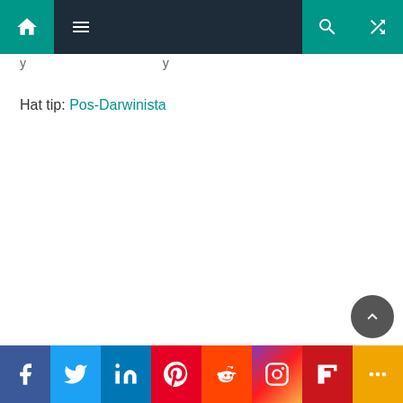Navigation bar with home, menu, search, and shuffle icons
y ... y
Hat tip: Pos-Darwinista
[Figure (infographic): Social sharing bar with icons for Facebook, Twitter, LinkedIn, Pinterest, Reddit, Instagram, Flipboard, and More]
Facebook Twitter LinkedIn Pinterest Reddit Instagram Flipboard More